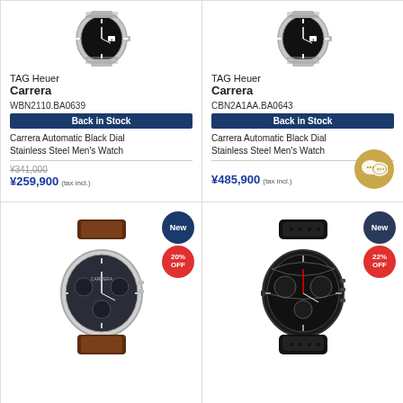[Figure (photo): TAG Heuer Carrera watch with stainless steel bracelet, black dial, top-left cell]
TAG Heuer
Carrera
WBN2110.BA0639
Back in Stock
Carrera Automatic Black Dial Stainless Steel Men's Watch
¥341,000
¥259,900 (tax incl.)
[Figure (photo): TAG Heuer Carrera watch with stainless steel bracelet, black dial, top-right cell]
TAG Heuer
Carrera
CBN2A1AA.BA0643
Back in Stock
Carrera Automatic Black Dial Stainless Steel Men's Watch
¥485,900 (tax incl.)
[Figure (photo): TAG Heuer Carrera chronograph watch with brown leather strap and blue-grey dial, bottom-left cell, New badge, 20% OFF badge]
[Figure (photo): TAG Heuer Carrera black chronograph watch with black rubber strap, skeleton dial, bottom-right cell, New badge, 22% OFF badge]